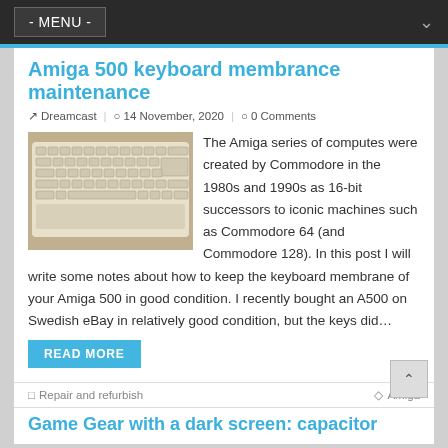- MENU -
Amiga 500 keyboard membrance maintenance
Dreamcast | 14 November, 2020 | 0 Comments
[Figure (photo): Photo of an Amiga 500 keyboard, cream/beige colored keys, viewed from above at slight angle]
The Amiga series of computes were created by Commodore in the 1980s and 1990s as 16-bit successors to iconic machines such as Commodore 64 (and Commodore 128). In this post I will write some notes about how to keep the keyboard membrane of your Amiga 500 in good condition. I recently bought an A500 on Swedish eBay in relatively good condition, but the keys did…
READ MORE
Repair and refurbish | Amiga
Game Gear with a dark screen: capacitor